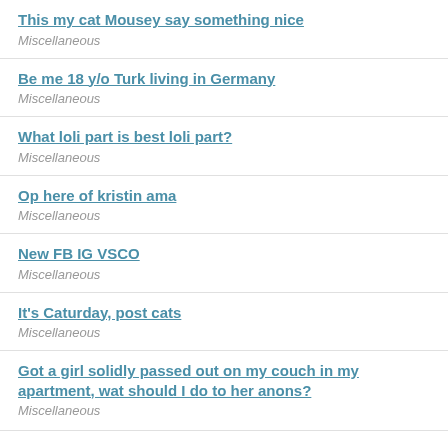This my cat Mousey say something nice
Miscellaneous
Be me 18 y/o Turk living in Germany
Miscellaneous
What loli part is best loli part?
Miscellaneous
Op here of kristin ama
Miscellaneous
New FB IG VSCO
Miscellaneous
It's Caturday, post cats
Miscellaneous
Got a girl solidly passed out on my couch in my apartment, wat should I do to her anons?
Miscellaneous
(partial entry)
Miscellaneous